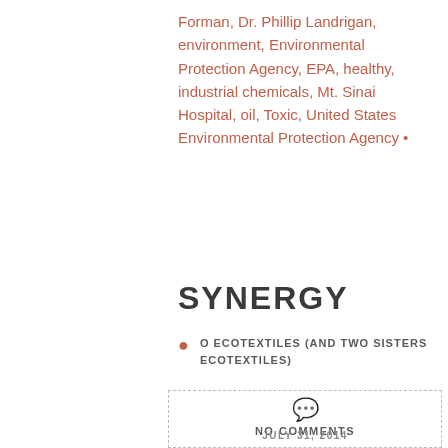Forman, Dr. Phillip Landrigan, environment, Environmental Protection Agency, EPA, healthy, industrial chemicals, Mt. Sinai Hospital, oil, Toxic, United States Environmental Protection Agency •
SYNERGY
O ECOTEXTILES (AND TWO SISTERS ECOTEXTILES)
NO COMMENTS
JULY 31, 2014